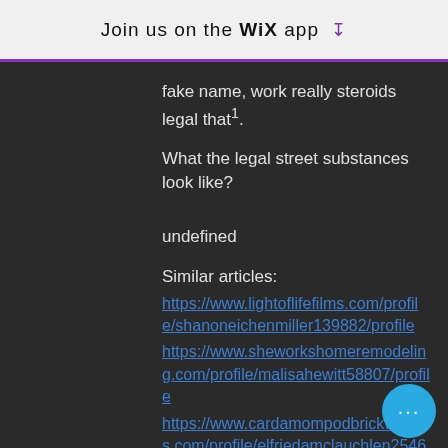Join us on the WiX app ↓
fake name, work really steroids legal that1.
What the legal street substances look like?
undefined
Similar articles:
https://www.lightoflifefilms.com/profile/shanoneichenmiller139882/profile
https://www.sheworkshomeremodeling.com/profile/malisahewitt58807/profile
https://www.cardamompodbrickworks.com/profile/elfriedamclauchlen25464/profile
https://www.impactedbutnotimprisoned.com/profile/gonzaloeppolito105302/profile